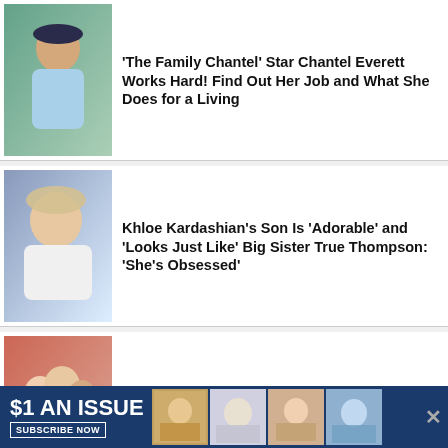[Figure (photo): Photo of Chantel Everett outdoors in athletic wear]
‘The Family Chantel’ Star Chantel Everett Works Hard! Find Out Her Job and What She Does for a Living
[Figure (photo): Photo of Khloe Kardashian at an event]
Khloe Kardashian’s Son Is ‘Adorable’ and ‘Looks Just Like’ Big Sister True Thompson: ‘She’s Obsessed’
[Figure (photo): Photo of Hannah and Collin Gosselin with family]
How Hannah and Collin Gosselin Feel After Mom Kate Allegedly ‘Took’ Their Money: They’re ‘Very Hurt’
[Figure (photo): Photo of Jessa Duggar family]
‘Counting On’ Alum Jessa Duggar’s Dream House Is Renovated! Take a Tour of Her New Fixer Upper Home
[Figure (infographic): Advertisement banner: $1 AN ISSUE, SUBSCRIBE NOW, US Weekly magazine covers]